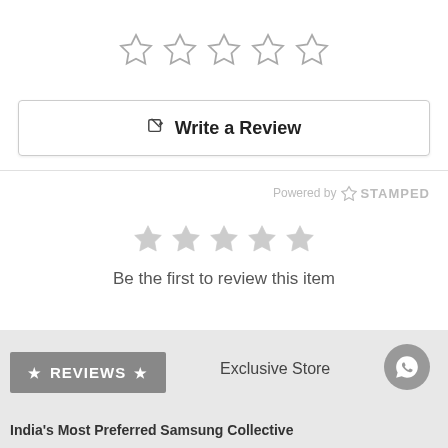[Figure (other): Five empty outline star rating icons centered on page]
Write a Review
Powered by STAMPED
[Figure (other): Five filled grey star rating icons]
Be the first to review this item
REVIEWS
Exclusive Store
India's Most Preferred Samsung Collective